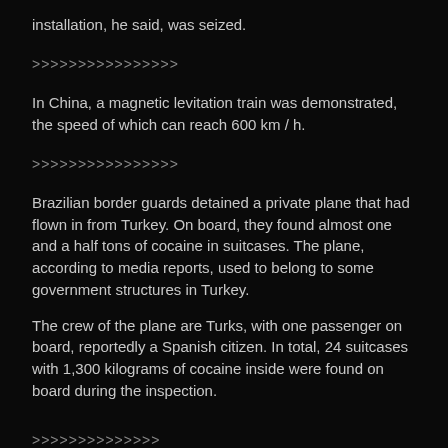installation, he said, was seized.
>>>>>>>>>>>>>>>>
In China, a magnetic levitation train was demonstrated, the speed of which can reach 600 km / h.
>>>>>>>>>>>>>>>>
Brazilian border guards detained a private plane that had flown in from Turkey. On board, they found almost one and a half tons of cocaine in suitcases. The plane, according to media reports, used to belong to some government structures in Turkey.
The crew of the plane are Turks, with one passenger on board, reportedly a Spanish citizen. In total, 24 suitcases with 1,300 kilograms of cocaine inside were found on board during the inspection.
>>>>>>>>>>>>>>
China's revenue from the sale of medical masks and other